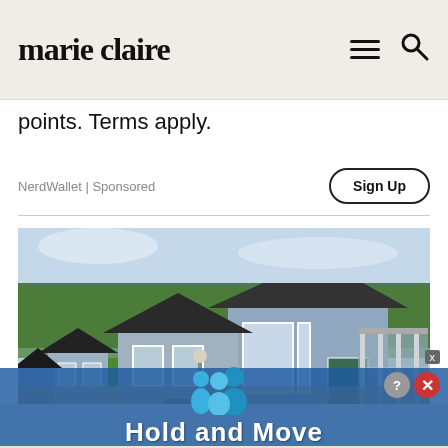marie claire
points. Terms apply.
NerdWallet | Sponsored
Sign Up
[Figure (photo): Row of small modern cabin-style houses with blue-grey siding, white trim, large windows, and covered porches, lined along a path with green hedges and orange mulch ground cover, trees in background]
[Figure (infographic): Blue overlay advertisement showing two blue cartoon figures and text 'Hold and Move' with help (?) and close (x) buttons in top right]